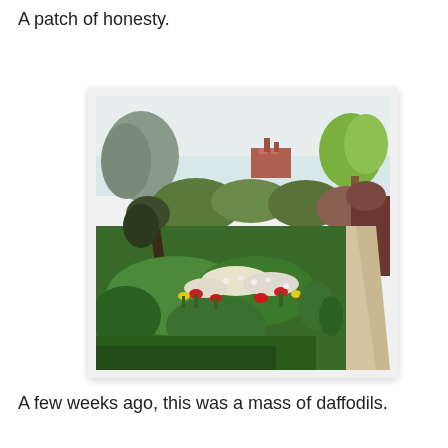A patch of honesty.
[Figure (photo): A garden scene with colorful spring flowers including red and yellow tulips in the foreground, lush green shrubs and trees, a gravel path winding to the right, and a brick building visible in the background under a pale sky.]
A few weeks ago, this was a mass of daffodils.